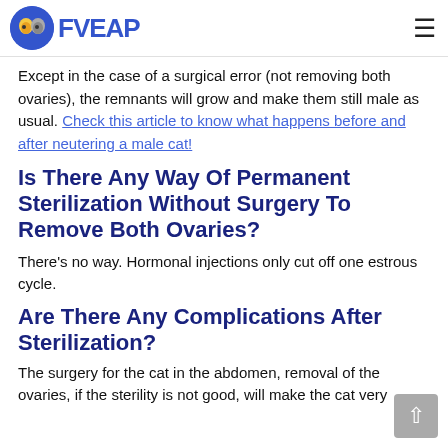FVEAP
Except in the case of a surgical error (not removing both ovaries), the remnants will grow and make them still male as usual. Check this article to know what happens before and after neutering a male cat!
Is There Any Way Of Permanent Sterilization Without Surgery To Remove Both Ovaries?
There's no way. Hormonal injections only cut off one estrous cycle.
Are There Any Complications After Sterilization?
The surgery for the cat in the abdomen, removal of the ovaries, if the sterility is not good, will make the cat very